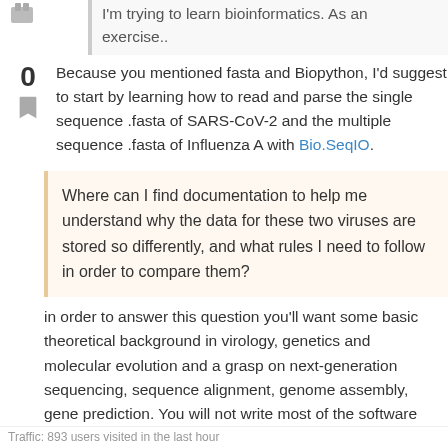I'm trying to learn bioinformatics. As an exercise..
0
Because you mentioned fasta and Biopython, I'd suggest to start by learning how to read and parse the single sequence .fasta of SARS-CoV-2 and the multiple sequence .fasta of Influenza A with Bio.SeqIO.
Where can I find documentation to help me understand why the data for these two viruses are stored so differently, and what rules I need to follow in order to compare them?
in order to answer this question you'll want some basic theoretical background in virology, genetics and molecular evolution and a grasp on next-generation sequencing, sequence alignment, genome assembly, gene prediction. You will not write most of the software needed for your analysis, more likely you will have to choose and (learn to) use the many tools available for the many different tasks at hand. But you will indeed end up writing your scripts, mostly in bash and python, to patch them together in your pipelines.
Traffic: 893 users visited in the last hour